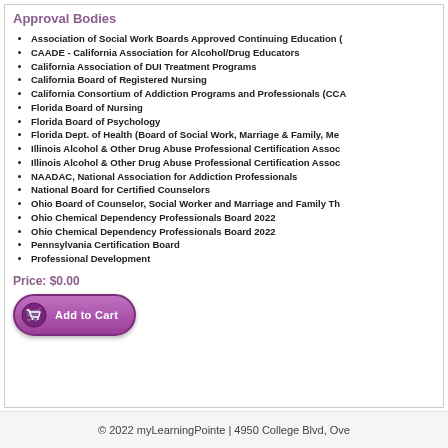Approval Bodies
Association of Social Work Boards Approved Continuing Education (
CAADE - California Association for Alcohol/Drug Educators
California Association of DUI Treatment Programs
California Board of Registered Nursing
California Consortium of Addiction Programs and Professionals (CCA
Florida Board of Nursing
Florida Board of Psychology
Florida Dept. of Health (Board of Social Work, Marriage & Family, Me
Illinois Alcohol & Other Drug Abuse Professional Certification Assoc
Illinois Alcohol & Other Drug Abuse Professional Certification Assoc
NAADAC, National Association for Addiction Professionals
National Board for Certified Counselors
Ohio Board of Counselor, Social Worker and Marriage and Family Th
Ohio Chemical Dependency Professionals Board 2022
Ohio Chemical Dependency Professionals Board 2022
Pennsylvania Certification Board
Professional Development
Price: $0.00
[Figure (other): Add to Cart button with shopping cart icon, purple/pink gradient background]
© 2022 myLearningPointe | 4950 College Blvd, Ove